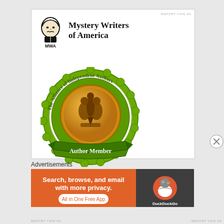[Figure (logo): Mystery Writers of America logo with Edgar Allan Poe illustration and MWA text]
Mystery Writers of America
[Figure (logo): The Alliance of Independent Authors Author Member badge - green scalloped seal with gold center featuring pen/quill emblem]
REPORT THIS AD
Advertisements
[Figure (infographic): DuckDuckGo advertisement: Search, browse, and email with more privacy. All in One Free App - orange background with DuckDuckGo duck logo on dark side]
REPORT THIS AD
REPORT THIS AD